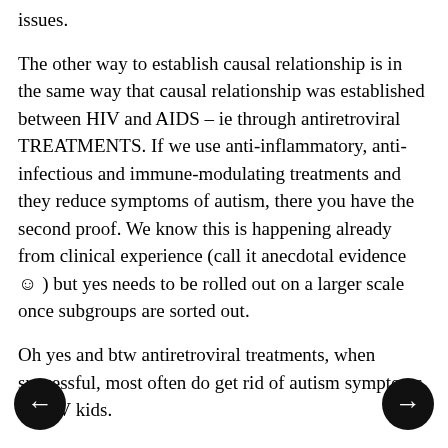issues.
The other way to establish causal relationship is in the same way that causal relationship was established between HIV and AIDS – ie through antiretroviral TREATMENTS. If we use anti-inflammatory, anti-infectious and immune-modulating treatments and they reduce symptoms of autism, there you have the second proof. We know this is happening already from clinical experience (call it anecdotal evidence ☺ ) but yes needs to be rolled out on a larger scale once subgroups are sorted out.
Oh yes and btw antiretroviral treatments, when successful, most often do get rid of autism symptoms in HIV kids.